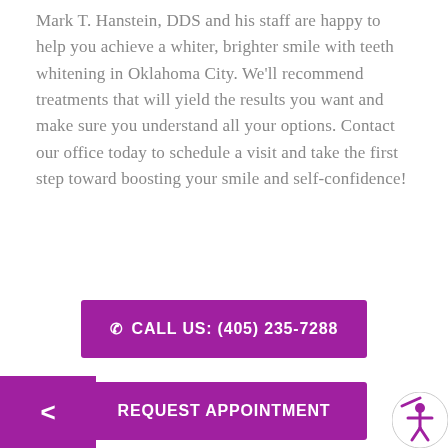Mark T. Hanstein, DDS and his staff are happy to help you achieve a whiter, brighter smile with teeth whitening in Oklahoma City. We'll recommend treatments that will yield the results you want and make sure you understand all your options. Contact our office today to schedule a visit and take the first step toward boosting your smile and self-confidence!
✆ CALL US: (405) 235-7288
REQUEST APPOINTMENT